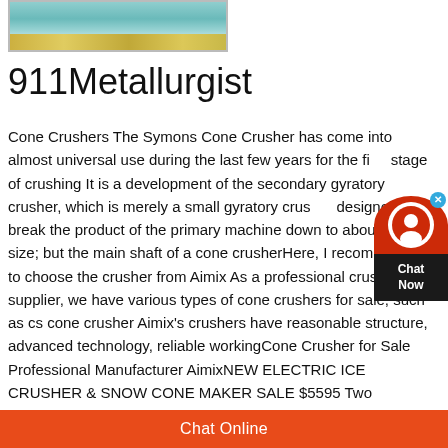[Figure (photo): Photo of an indoor floor surface, possibly a gymnasium or factory floor with teal/turquoise coloring and yellow line markings]
911Metallurgist
Cone Crushers The Symons Cone Crusher has come into almost universal use during the last few years for the first stage of crushing It is a development of the secondary gyratory crusher, which is merely a small gyratory crusher designed to break the product of the primary machine down to about 1½in size; but the main shaft of a cone crusherHere, I recommend you to choose the crusher from Aimix As a professional crusher supplier, we have various types of cone crushers for sale, such as cs cone crusher Aimix's crushers have reasonable structure, advanced technology, reliable workingCone Crusher for Sale Professional Manufacturer AimixNEW ELECTRIC ICE CRUSHER & SNOW CONE MAKER SALE $5595 Two
[Figure (infographic): Chat widget with circular avatar icon showing a person's silhouette in red/white, a dark box with 'Chat Now' text, and a blue close X button]
Chat Online